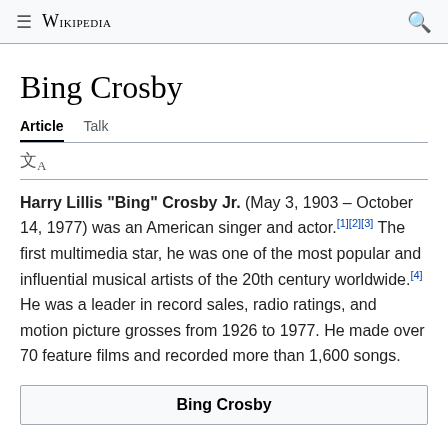≡ WIKIPEDIA 🔍
Bing Crosby
Article   Talk
文A
Harry Lillis "Bing" Crosby Jr. (May 3, 1903 – October 14, 1977) was an American singer and actor.[1][2][3] The first multimedia star, he was one of the most popular and influential musical artists of the 20th century worldwide.[4] He was a leader in record sales, radio ratings, and motion picture grosses from 1926 to 1977. He made over 70 feature films and recorded more than 1,600 songs.
Bing Crosby